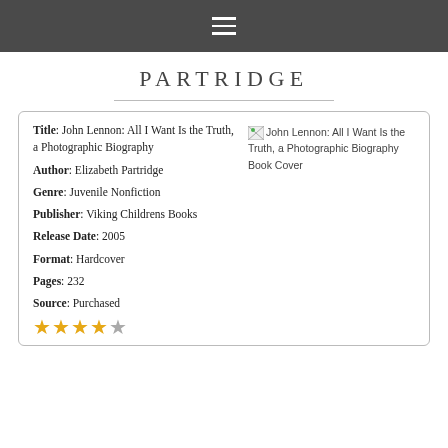≡ (navigation menu icon)
PARTRIDGE
Title: John Lennon: All I Want Is the Truth, a Photographic Biography
Author: Elizabeth Partridge
Genre: Juvenile Nonfiction
Publisher: Viking Childrens Books
Release Date: 2005
Format: Hardcover
Pages: 232
Source: Purchased
[Figure (other): Broken image placeholder for John Lennon: All I Want Is the Truth, a Photographic Biography Book Cover]
[Figure (other): Star rating: 4 out of 5 stars (4 filled gold stars, 1 grey star)]